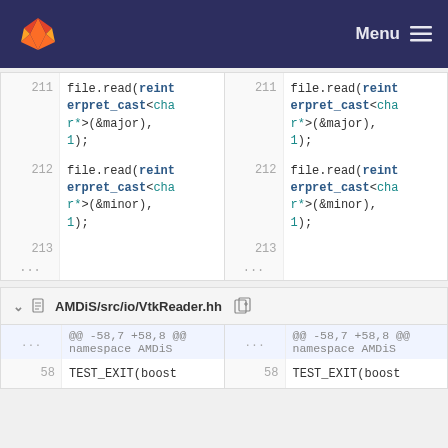GitLab — Menu
211   file.read(reinterpret_cast<char*>(&major), 1);   211   file.read(reinterpret_cast<char*>(&major), 1);
212   file.read(reinterpret_cast<char*>(&minor), 1);   212   file.read(reinterpret_cast<char*>(&minor), 1);
213   ...   213   ...
AMDiS/src/io/VtkReader.hh
...   @@ -58,7 +58,8 @@ namespace AMDiS   ...   @@ -58,7 +58,8 @@ namespace AMDiS
58   TEST_EXIT(boost   58   TEST_EXIT(boost